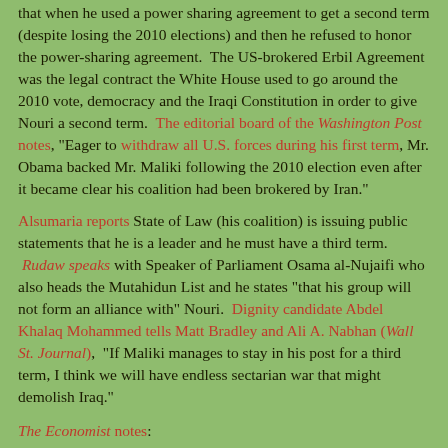that when he used a power sharing agreement to get a second term (despite losing the 2010 elections) and then he refused to honor the power-sharing agreement. The US-brokered Erbil Agreement was the legal contract the White House used to go around the 2010 vote, democracy and the Iraqi Constitution in order to give Nouri a second term. The editorial board of the Washington Post notes, "Eager to withdraw all U.S. forces during his first term, Mr. Obama backed Mr. Maliki following the 2010 election even after it became clear his coalition had been brokered by Iran."
Alsumaria reports State of Law (his coalition) is issuing public statements that he is a leader and he must have a third term. Rudaw speaks with Speaker of Parliament Osama al-Nujaifi who also heads the Mutahidun List and he states "that his group will not form an alliance with" Nouri. Dignity candidate Abdel Khalaq Mohammed tells Matt Bradley and Ali A. Nabhan (Wall St. Journal), "If Maliki manages to stay in his post for a third term, I think we will have endless sectarian war that might demolish Iraq."
The Economist notes:
Despite his catastrophic record, blattition in 2010, Mr. Maliki...